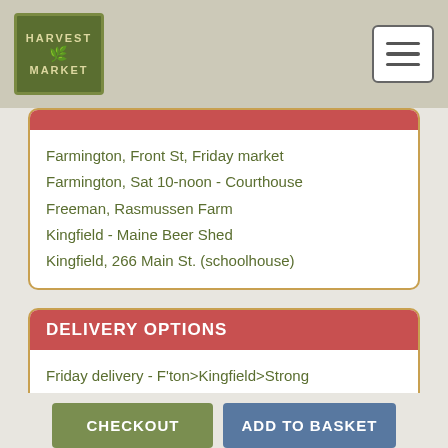Harvest Market
Farmington, Front St, Friday market
Farmington, Sat 10-noon - Courthouse
Freeman, Rasmussen Farm
Kingfield - Maine Beer Shed
Kingfield, 266 Main St. (schoolhouse)
DELIVERY OPTIONS
Friday delivery - F'ton>Kingfield>Strong
Saturday delivery, Farmington to Strong